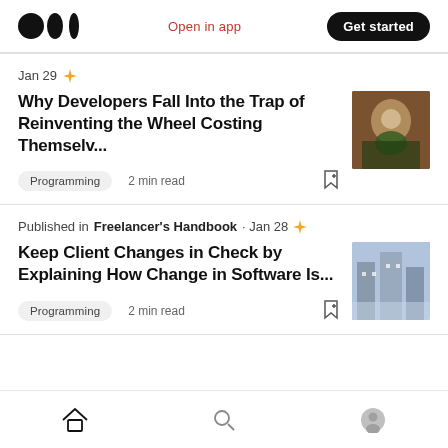Medium logo | Open in app | Get started
Jan 29 ✦
Why Developers Fall Into the Trap of Reinventing the Wheel Costing Themselv...
Programming  2 min read
Published in Freelancer's Handbook · Jan 28 ✦
Keep Client Changes in Check by Explaining How Change in Software Is...
Programming  2 min read
Home | Search | Profile